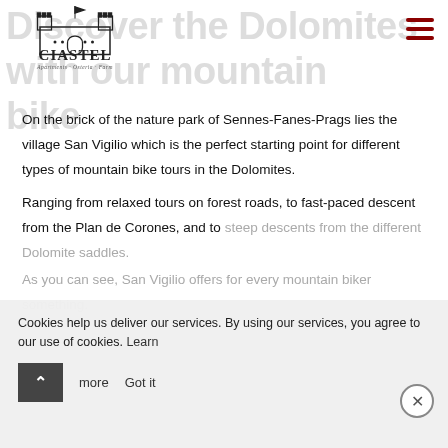Discover the Dolomites with our mountain bike
[Figure (logo): Ciastel logo with castle illustration and text 'CIASTEL Apartments Osteria Farm']
On the brick of the nature park of Sennes-Fanes-Prags lies the village San Vigilio which is the perfect starting point for different types of mountain bike tours in the Dolomites.
Ranging from relaxed tours on forest roads, to fast-paced descent from the Plan de Corones, and to steep descents from the different Dolomite saddles.
As you can see, San Vigilio offers for every mountain biker something.
Cookies help us deliver our services. By using our services, you agree to our use of cookies. Learn more  Got it